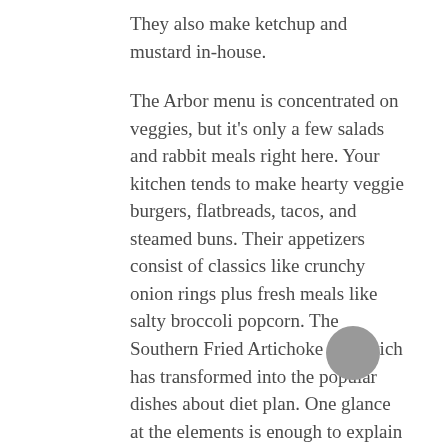They also make ketchup and mustard in-house.
The Arbor menu is concentrated on veggies, but it's only a few salads and rabbit meals right here. Your kitchen tends to make hearty veggie burgers, flatbreads, tacos, and steamed buns. Their appetizers consist of classics like crunchy onion rings plus fresh meals like salty broccoli popcorn. The Southern Fried Artichoke Sandwich has transformed into the popular dishes about diet plan. One glance at the elements is enough to explain the reason why. Eggplant bacon. Acocado mousse. Hot mayo. All on a ciabatta bun? Yes, please.
The Arbor is on an objective to produce greens not simply palatable but satisfying. For the terms associated with site, „We're not contemplating